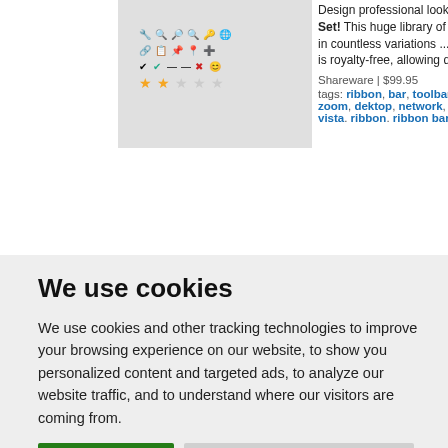[Figure (screenshot): Partial view of a software product listing page showing icon grid thumbnail and product description with tags including ribbon, bar, toolbar, zoom, dektop, network, vista, ribbon bar. Price shown as $99.95 Shareware.]
We use cookies
We use cookies and other tracking technologies to improve your browsing experience on our website, to show you personalized content and targeted ads, to analyze our website traffic, and to understand where our visitors are coming from.
I agree | Change my preferences